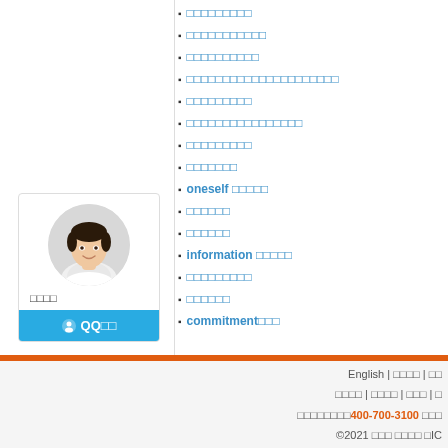[Figure (photo): Profile card with circular avatar photo of a young Asian woman, name in Chinese characters, and a blue QQ button]
□□□□□□□□□
□□□□□□□□□□□
□□□□□□□□□□
□□□□□□□□□□□□□□□□□□□□□
□□□□□□□□□
□□□□□□□□□□□□□□□□
□□□□□□□□□
□□□□□□□
oneself □□□□□
□□□□□□
□□□□□□
information □□□□□
□□□□□□□□□
□□□□□□
commitment□□□
English | □□□□ | □□ | □□□□ | □□□□ | □□□ | □ | □□□□□□□400-700-3100 □□□ ©2021 □□□ □□□□ □IC